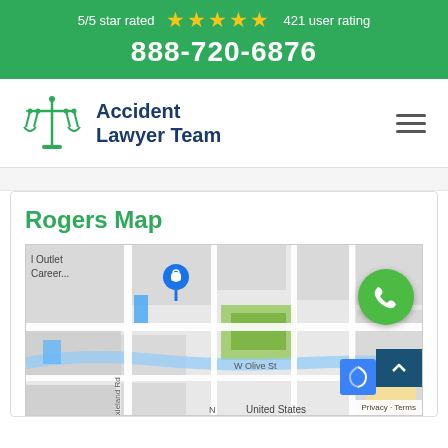5/5 star rated ★★★★★ 421 user rating
888-720-6876
[Figure (logo): Accident Lawyer Team logo with scales of justice icon]
Rogers Map
[Figure (map): Google Map showing Rogers area with streets including Dixieland Rd and W Olive St, with a blue location pin near I Outlet Career... label, green phone button overlay, back-to-top button, and Privacy/Terms bar]